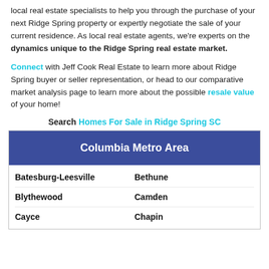local real estate specialists to help you through the purchase of your next Ridge Spring property or expertly negotiate the sale of your current residence. As local real estate agents, we're experts on the dynamics unique to the Ridge Spring real estate market.
Connect with Jeff Cook Real Estate to learn more about Ridge Spring buyer or seller representation, or head to our comparative market analysis page to learn more about the possible resale value of your home!
Search Homes For Sale in Ridge Spring SC
| Columbia Metro Area |
| --- |
| Batesburg-Leesville | Bethune |
| Blythewood | Camden |
| Cayce | Chapin |